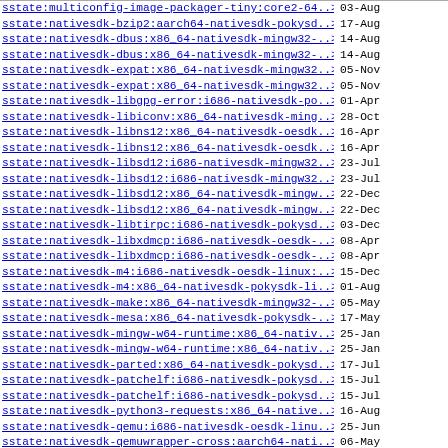| Link | Date |
| --- | --- |
| sstate:multiconfig-image-packager-tiny:core2-64..> | 03-Aug |
| sstate:nativesdk-bzip2:aarch64-nativesdk-pokysd..> | 17-Aug |
| sstate:nativesdk-dbus:x86_64-nativesdk-mingw32-..> | 14-Aug |
| sstate:nativesdk-dbus:x86_64-nativesdk-mingw32-..> | 14-Aug |
| sstate:nativesdk-expat:x86_64-nativesdk-mingw32..> | 05-Nov |
| sstate:nativesdk-expat:x86_64-nativesdk-mingw32..> | 05-Nov |
| sstate:nativesdk-libgpg-error:i686-nativesdk-po..> | 01-Apr |
| sstate:nativesdk-libiconv:x86_64-nativesdk-ming..> | 28-Oct |
| sstate:nativesdk-libns12:x86_64-nativesdk-oesdk..> | 16-Apr |
| sstate:nativesdk-libns12:x86_64-nativesdk-oesdk..> | 16-Apr |
| sstate:nativesdk-libsd12:i686-nativesdk-mingw32..> | 23-Jul |
| sstate:nativesdk-libsd12:i686-nativesdk-mingw32..> | 23-Jul |
| sstate:nativesdk-libsd12:x86_64-nativesdk-mingw..> | 22-Dec |
| sstate:nativesdk-libsd12:x86_64-nativesdk-mingw..> | 22-Dec |
| sstate:nativesdk-libtirpc:i686-nativesdk-pokysd..> | 03-Dec |
| sstate:nativesdk-libxdmcp:i686-nativesdk-oesdk-..> | 08-Apr |
| sstate:nativesdk-libxdmcp:i686-nativesdk-oesdk-..> | 08-Apr |
| sstate:nativesdk-m4:i686-nativesdk-oesdk-linux:..> | 15-Dec |
| sstate:nativesdk-m4:x86_64-nativesdk-pokysdk-li..> | 01-Aug |
| sstate:nativesdk-make:x86_64-nativesdk-mingw32-..> | 05-May |
| sstate:nativesdk-mesa:x86_64-nativesdk-pokysdk-..> | 17-May |
| sstate:nativesdk-mingw-w64-runtime:x86_64-nativ..> | 25-Jan |
| sstate:nativesdk-mingw-w64-runtime:x86_64-nativ..> | 25-Jan |
| sstate:nativesdk-parted:x86_64-nativesdk-pokysd..> | 17-Jul |
| sstate:nativesdk-patchelf:i686-nativesdk-pokysd..> | 15-Jul |
| sstate:nativesdk-patchelf:i686-nativesdk-pokysd..> | 15-Jul |
| sstate:nativesdk-python3-requests:x86_64-native..> | 16-Aug |
| sstate:nativesdk-qemu:i686-nativesdk-oesdk-linu..> | 25-Jun |
| sstate:nativesdk-qemuwrapper-cross:aarch64-nati..> | 06-May |
| sstate:nativesdk-util-linux-libuuid:i686-native..> | 27-May |